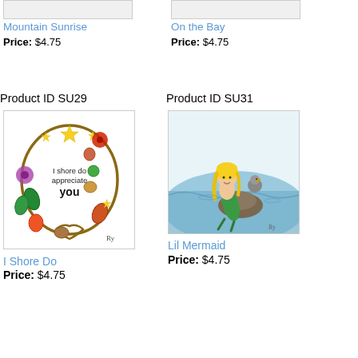[Figure (illustration): Product image placeholder for Mountain Sunrise (top, cropped)]
Mountain Sunrise
Price: $4.75
[Figure (illustration): Product image placeholder for On the Bay (top, cropped)]
On the Bay
Price: $4.75
Product ID SU29
[Figure (illustration): I Shore Do - decorative wreath with shells, starfish, flowers and text 'I shore do appreciate you' in center]
I Shore Do
Price: $4.75
Product ID SU31
[Figure (illustration): Lil Mermaid - cartoon illustration of a mermaid with blonde hair sitting on a rock in the ocean with a bird]
Lil Mermaid
Price: $4.75